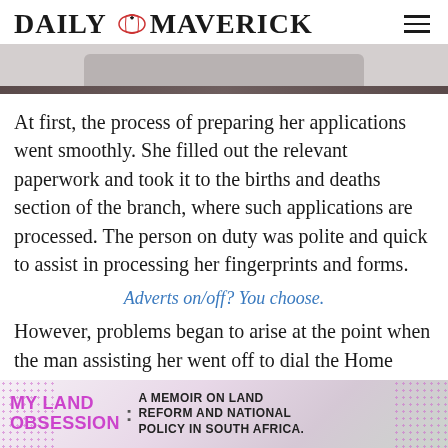DAILY MAVERICK
[Figure (photo): Partial top image showing a dark curved shape against a light background, cropped at top of page]
At first, the process of preparing her applications went smoothly. She filled out the relevant paperwork and took it to the births and deaths section of the branch, where such applications are processed. The person on duty was polite and quick to assist in processing her fingerprints and forms.
Adverts on/off? You choose.
However, problems began to arise at the point when the man assisting her went off to dial the Home Affairs head office in Pretoria to file her application.
[Figure (photo): Advertisement banner reading MY LAND OBSESSION: A MEMOIR ON LAND REFORM AND NATIONAL POLICY IN SOUTH AFRICA with purple text and spotted background]